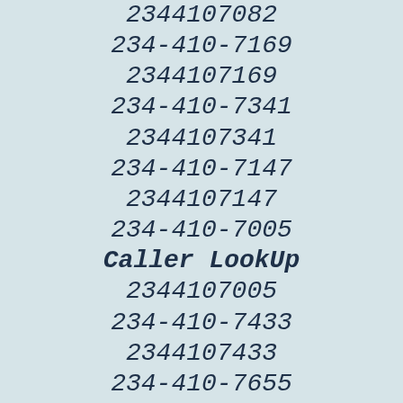2344107082
234-410-7169
2344107169
234-410-7341
2344107341
234-410-7147
2344107147
234-410-7005
Caller LookUp
2344107005
234-410-7433
2344107433
234-410-7655
2344107655
234-410-7754
2344107754